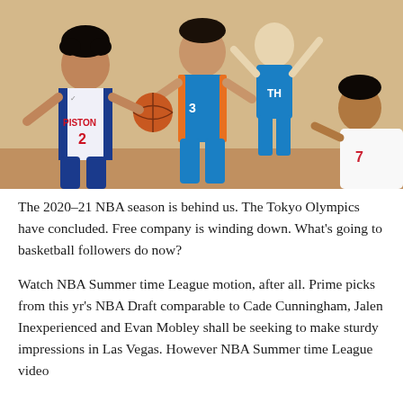[Figure (photo): NBA basketball game photo showing players in action. A Detroit Pistons player wearing #2 in white jersey dribbles the ball, contested by an Oklahoma City Thunder player in blue and orange uniform, with another player visible in background.]
The 2020–21 NBA season is behind us. The Tokyo Olympics have concluded. Free company is winding down. What's going to basketball followers do now?
Watch NBA Summer time League motion, after all. Prime picks from this yr's NBA Draft comparable to Cade Cunningham, Jalen Inexperienced and Evan Mobley shall be seeking to make sturdy impressions in Las Vegas. However NBA Summer time League video